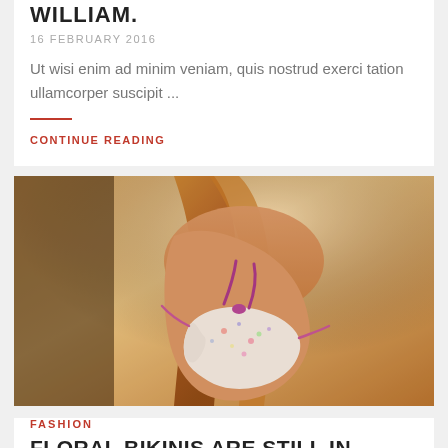WILLIAM.
16 FEBRUARY 2016
Ut wisi enim ad minim veniam, quis nostrud exerci tation ullamcorper suscipit ...
CONTINUE READING
[Figure (photo): Woman in a white floral bikini photographed from behind, outdoors with warm golden light]
FASHION
FLORAL BIKINIS ARE STILL IN STYLE THIS YEAR.